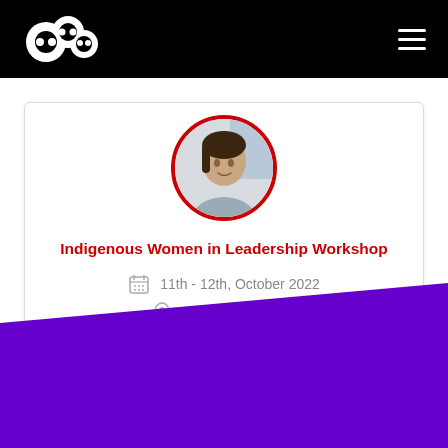[Figure (logo): White circular logo with stylized overlapping circles, on black header bar]
Indigenous Women in Leadership Workshop
11th - 12th, October 2022
Virtual / Streaming